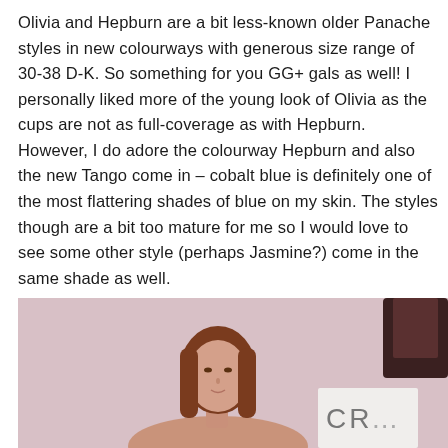Olivia and Hepburn are a bit less-known older Panache styles in new colourways with generous size range of 30-38 D-K. So something for you GG+ gals as well! I personally liked more of the young look of Olivia as the cups are not as full-coverage as with Hepburn. However, I do adore the colourway Hepburn and also the new Tango come in – cobalt blue is definitely one of the most flattering shades of blue on my skin. The styles though are a bit too mature for me so I would love to see some other style (perhaps Jasmine?) come in the same shade as well.
[Figure (photo): A woman with long auburn/brown hair photographed against a pink background. On the right side there is a dark element and a white card partially visible with letters 'CR...' on it.]